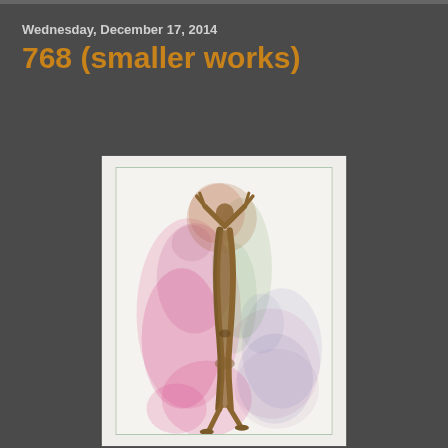Wednesday, December 17, 2014
768 (smaller works)
[Figure (photo): Artwork photograph showing a tall, narrow vertical figure or sculpture against a white background with colorful pastel/chalk marks in pink, green, and blue surrounding the central figure. The figure appears to be a stylized human form with arms raised, rendered in brown/ochre tones. The image is framed with a light border.]